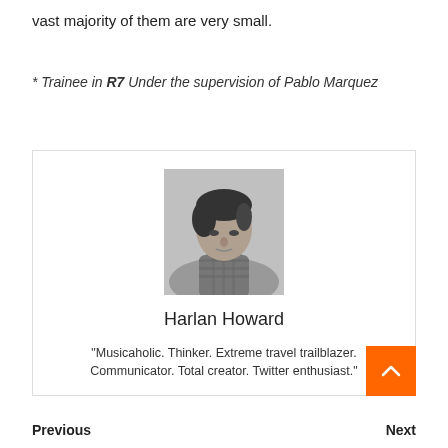vast majority of them are very small.
* Trainee in R7 Under the supervision of Pablo Marquez
[Figure (photo): Black and white photo of a young man with dark hair resting against a pillow, wearing a plaid shirt]
Harlan Howard
"Musicaholic. Thinker. Extreme travel trailblazer. Communicator. Total creator. Twitter enthusiast."
Previous    Next